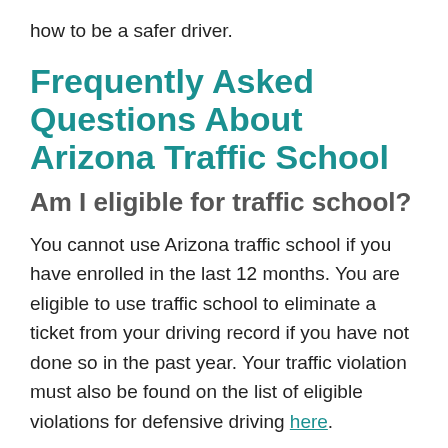how to be a safer driver.
Frequently Asked Questions About Arizona Traffic School
Am I eligible for traffic school?
You cannot use Arizona traffic school if you have enrolled in the last 12 months. You are eligible to use traffic school to eliminate a ticket from your driving record if you have not done so in the past year. Your traffic violation must also be found on the list of eligible violations for defensive driving here.
If you were involved in an accident that resulted in